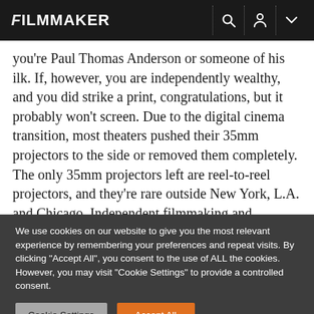FILMMAKER
you're Paul Thomas Anderson or someone of his ilk. If, however, you are independently wealthy, and you did strike a print, congratulations, but it probably won't screen. Due to the digital cinema transition, most theaters pushed their 35mm projectors to the side or removed them completely. The only 35mm projectors left are reel-to-reel projectors, and they're rare outside New York, L.A. and Chicago. Independent filmmaking and exhibition have gone mostly digital
We use cookies on our website to give you the most relevant experience by remembering your preferences and repeat visits. By clicking "Accept All", you consent to the use of ALL the cookies. However, you may visit "Cookie Settings" to provide a controlled consent.
Cookie Settings | Accept All